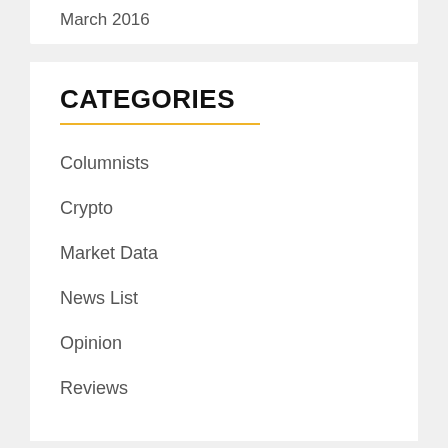March 2016
CATEGORIES
Columnists
Crypto
Market Data
News List
Opinion
Reviews
Search ...